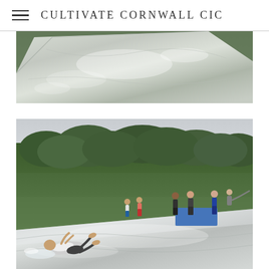CULTIVATE CORNWALL CIC
[Figure (photo): Close-up aerial/top-down view of a large transparent plastic sheet or tarp laid on grass, with water or condensation visible on its surface and green grass around the edges.]
[Figure (photo): Outdoor scene on a grassy field with hedges and trees in the background. A person is sliding along a large wet plastic/tarp slip-and-slide sheet in the foreground, while several children and adults stand watching in the background. A blue mat is visible at the far end of the slide.]